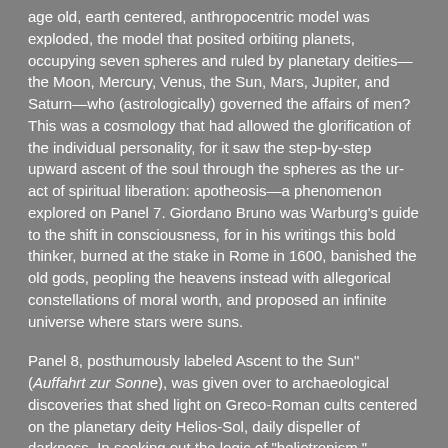age old, earth centered, anthropocentric model was exploded, the model that posited orbiting planets, occupying seven spheres and ruled by planetary deities—the Moon, Mercury, Venus, the Sun, Mars, Jupiter, and Saturn—who (astrologically) governed the affairs of men? This was a cosmology that had allowed the glorification of the individual personality, for it saw the step-by-step upward ascent of the soul through the spheres as the ur-act of spiritual liberation: apotheosis—a phenomenon explored on Panel 7. Giordano Bruno was Warburg's guide to the shift in consciousness, for in his writings this bold thinker, burned at the stake in Rome in 1600, banished the old gods, peopling the heavens instead with allegorical constellations of moral worth, and proposed an infinite universe where stars were suns.
Panel 8, posthumously labeled Ascent to the Sun" (Auffahrt zur Sonne), was given over to archaeological discoveries that shed light on Greco-Roman cults centered on the planetary deity Helios-Sol, daily dispeller of darkness. In seeking out the logic of "heliotropism," Warburg seized upon